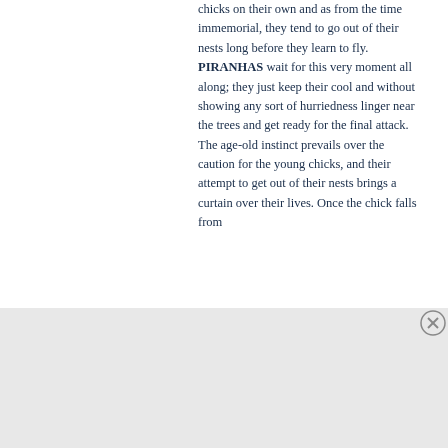chicks on their own and as from the time immemorial, they tend to go out of their nests long before they learn to fly. PIRANHAS wait for this very moment all along; they just keep their cool and without showing any sort of hurriedness linger near the trees and get ready for the final attack. The age-old instinct prevails over the caution for the young chicks, and their attempt to get out of their nests brings a curtain over their lives. Once the chick falls from
Advertisements
[Figure (other): DuckDuckGo advertisement banner with orange background. Text reads: Search, browse, and email with more privacy. All in One Free App. Shows a DuckDuckGo app icon on a smartphone.]